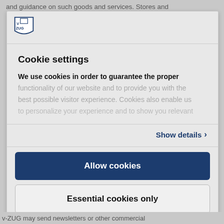and guidance on such goods and services. Stores and
[Figure (logo): V-ZUG brand logo — shield shape with V/ZUG text]
Cookie settings
We use cookies in order to guarantee the proper functionality of our website and to provide you with the best possible visitor experience. Cookies also enable us
Show details >
Allow cookies
Essential cookies only
Powered by Cookiebot by Usercentrics
V-ZUG may send newsletters or other commercial